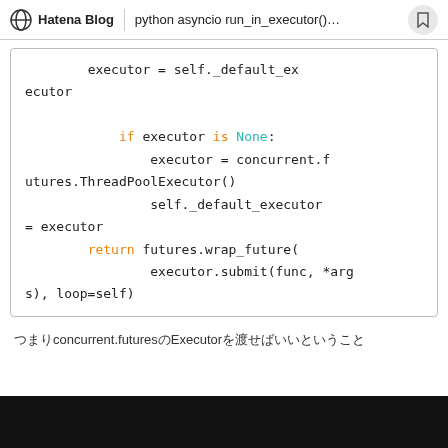Hatena Blog | python asyncio run_in_executor()…
executor = self._default_executor

            if executor is None:
                executor = concurrent.futures.ThreadPoolExecutor()
                self._default_executor = executor
        return futures.wrap_future(
                executor.submit(func, *args), loop=self)
つまりconcurrent.futuresのExecutorを渡せばいいということ